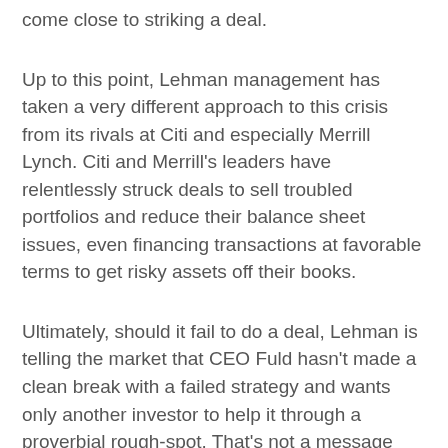come close to striking a deal.
Up to this point, Lehman management has taken a very different approach to this crisis from its rivals at Citi and especially Merrill Lynch. Citi and Merrill's leaders have relentlessly struck deals to sell troubled portfolios and reduce their balance sheet issues, even financing transactions at favorable terms to get risky assets off their books.
Ultimately, should it fail to do a deal, Lehman is telling the market that CEO Fuld hasn't made a clean break with a failed strategy and wants only another investor to help it through a proverbial rough-spot. That's not a message investors are likely to welcome.
Wall Street should soon know where it stands vis a vis Lehman. Richard Bove, the Ladenburg Thalmann analyst, said Friday on Bloomberg TV that Lehman and Fuld have through the weekend